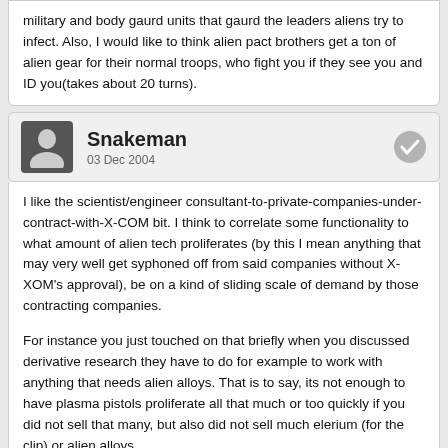military and body gaurd units that gaurd the leaders aliens try to infect. Also, I would like to think alien pact brothers get a ton of alien gear for their normal troops, who fight you if they see you and ID you(takes about 20 turns).
Snakeman
03 Dec 2004
I like the scientist/engineer consultant-to-private-companies-under-contract-with-X-COM bit. I think to correlate some functionality to what amount of alien tech proliferates (by this I mean anything that may very well get syphoned off from said companies without X-XOM's approval), be on a kind of sliding scale of demand by those contracting companies.
For instance you just touched on that briefly when you discussed derivative research they have to do for example to work with anything that needs alien alloys. That is to say, its not enough to have plasma pistols proliferate all that much or too quickly if you did not sell that many, but also did not sell much elerium (for the clip) or alien alloys.
The way it could work in practice though, with relation to those comapnies efforts is you could have a prompt by the consulting scientist of yours who asks you for the plans, specs, or samples of the